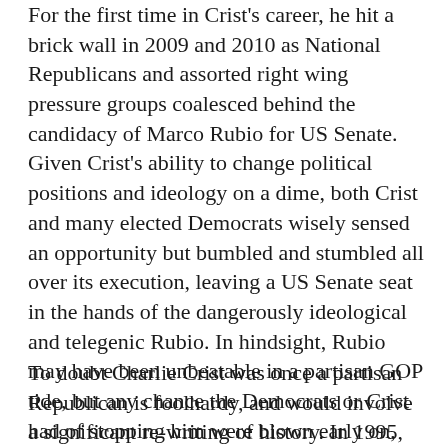For the first time in Crist's career, he hit a brick wall in 2009 and 2010 as National Republicans and assorted right wing pressure groups coalesced behind the candidacy of Marco Rubio for US Senate. Given Crist's ability to change political positions and ideology on a dime, both Crist and many elected Democrats wisely sensed an opportunity but bumbled and stumbled all over its execution, leaving a US Senate seat in the hands of the dangerously ideological and telegenic Rubio. In hindsight, Rubio may have been unbeatable in a partisan GOP tide, but any chance the Democrats or Crist had of stopping him were blown early on, and what resulted was damage to Democratic morale and divisiveness throughout the state.
To doubt Charlie Crist was once a partisan Republican is foolhardy, and would involve a significant re-writing of history. In 1995, as